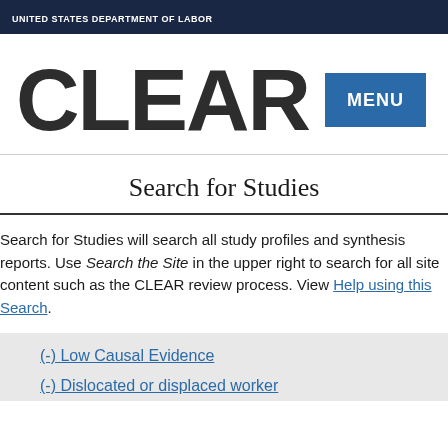UNITED STATES DEPARTMENT OF LABOR
CLEAR MENU
Search for Studies
Search for Studies will search all study profiles and synthesis reports. Use Search the Site in the upper right to search for all site content such as the CLEAR review process. View Help using this Search.
(-) Low Causal Evidence
(-) Dislocated or displaced worker